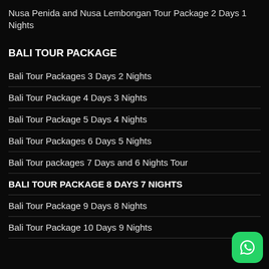Nusa Penida and Nusa Lembongan Tour Package 2 Days 1 Nights
BALI TOUR PACKAGE
Bali Tour Packages 3 Days 2 Nights
Bali Tour Package 4 Days 3 Nights
Bali Tour Package 5 Days 4 Nights
Bali Tour Packages 6 Days 5 Nights
Bali Tour packages 7 Days and 6 Nights Tour
BALI TOUR PACKAGE 8 DAYS 7 NIGHTS
Bali Tour Package 9 Days 8 Nights
Bali Tour Package 10 Days 9 Nights